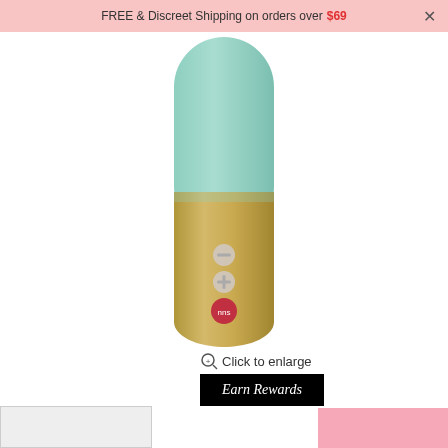FREE & Discreet Shipping on orders over $69
[Figure (photo): Product photo of a mint green and gold personal massager/vibrator with three control buttons (minus, plus, and a red power button) on the gold base section.]
Click to enlarge
Earn Rewards